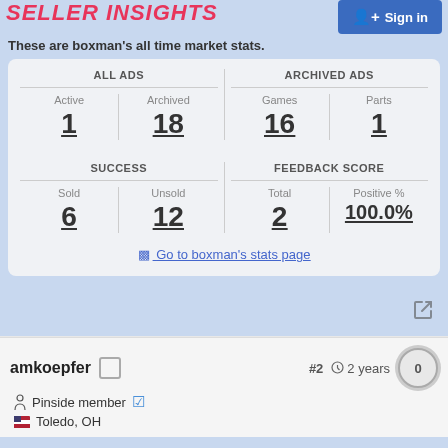SELLER INSIGHTS
These are boxman's all time market stats.
| ALL ADS |  | ARCHIVED ADS |  |
| --- | --- | --- | --- |
| Active | Archived | Games | Parts |
| 1 | 18 | 16 | 1 |
| SUCCESS |  | FEEDBACK SCORE |  |
| Sold | Unsold | Total | Positive % |
| 6 | 12 | 2 | 100.0% |
Go to boxman's stats page
amkoepfer  #2  2 years  0
Pinside member
Toledo, OH